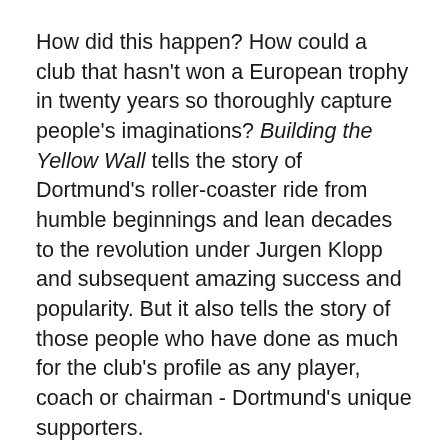How did this happen? How could a club that hasn't won a European trophy in twenty years so thoroughly capture people's imaginations? Building the Yellow Wall tells the story of Dortmund's roller-coaster ride from humble beginnings and lean decades to the revolution under Jurgen Klopp and subsequent amazing success and popularity. But it also tells the story of those people who have done as much for the club's profile as any player, coach or chairman - Dortmund's unique supporters.
The author:
Uli Hesse is an expert on German football and the author of Tor! The Story of German